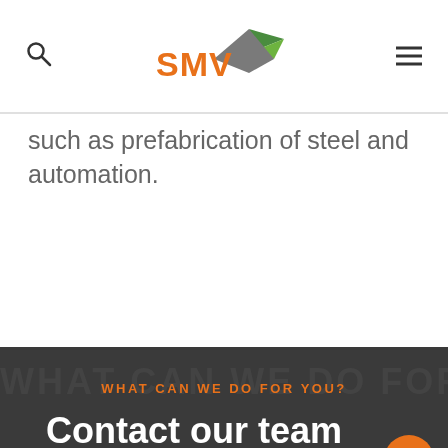SMV logo header with search and menu icons
such as prefabrication of steel and automation.
WHAT CAN WE DO FOR YOU?
Contact our team today
[Figure (photo): Circular portrait photo of a person at bottom of dark section]